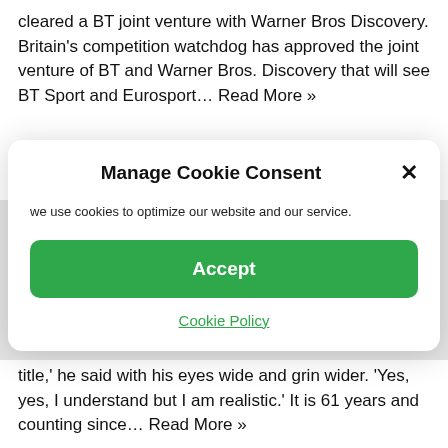cleared a BT joint venture with Warner Bros Discovery. Britain's competition watchdog has approved the joint venture of BT and Warner Bros. Discovery that will see BT Sport and Eurosport… Read More »
[Figure (screenshot): Cookie consent modal dialog with title 'Manage Cookie Consent', close button (×), body text 'we use cookies to optimize our website and our service.', green Accept button, and underlined 'Cookie Policy' link.]
title,' he said with his eyes wide and grin wider. 'Yes, yes, I understand but I am realistic.' It is 61 years and counting since… Read More »